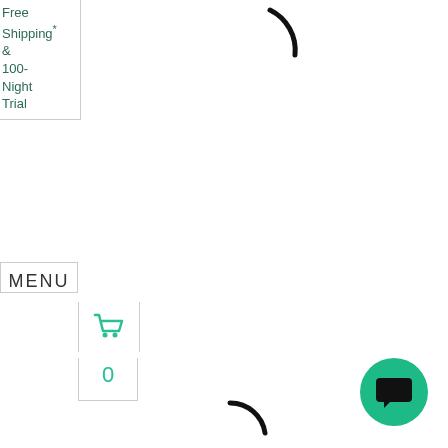Free Shipping* & 100-Night Trial
[Figure (other): Partial loading spinner arc (top right area)]
MENU
[Figure (other): Teal shopping cart icon]
0
[Figure (other): Teal chat bubble button (bottom right)]
[Figure (other): Partial loading spinner arc (bottom center)]